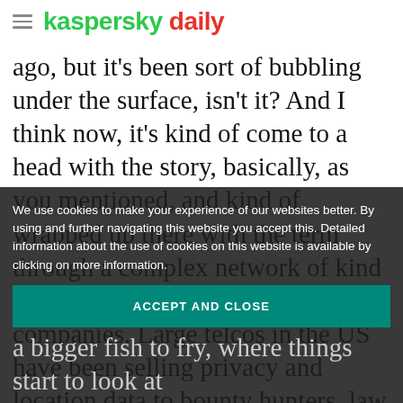kaspersky daily
ago, but it's been sort of bubbling under the surface, isn't it? And I think now, it's kind of come to a head with the story, basically, as you mentioned, and kind of wrapped up there with the term through a complex network of kind of middleman and, and other companies. Large telcos in the US have been selling privacy and location data to bounty hunters, law enforcement agencies, all without warrants and things like that. So I was kind of waiting for a lawsuit or action on the back of this, was surprised it took so long, to be honest.
We use cookies to make your experience of our websites better. By using and further navigating this website you accept this. Detailed information about the use of cookies on this website is available by clicking on more information.
ACCEPT AND CLOSE
a bigger fish to fry, where things start to look at